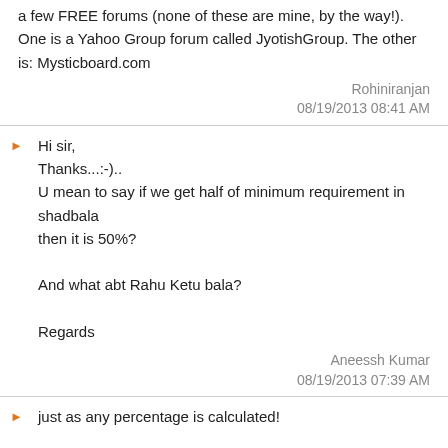a few FREE forums (none of these are mine, by the way!). One is a Yahoo Group forum called JyotishGroup. The other is: Mysticboard.com
Rohiniranjan
08/19/2013 08:41 AM
Hi sir,
Thanks...:-).. 
U mean to say if we get half of minimum requirement in shadbala
then it is 50%?

And what abt Rahu Ketu bala?

Regards
Aneessh Kumar
08/19/2013 07:39 AM
just as any percentage is calculated!

100/Vmax x Vact = %
rohiniranjan
08/18/2013 19:14 PM
Hello Sir,

I want to ask...How can we know the strength of Rahu and Ketu in shad bala like other planets? And How to know the strength in